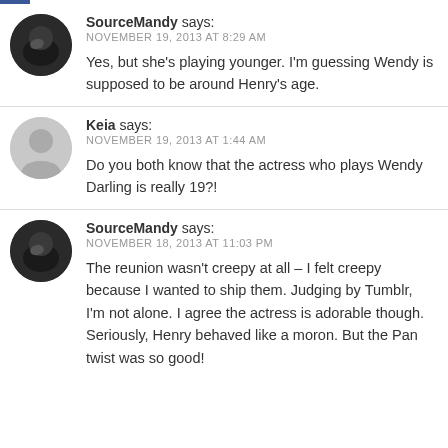SourceMandy says: NOVEMBER 19, 2013 AT 8:29 AM
Yes, but she's playing younger. I'm guessing Wendy is supposed to be around Henry's age.
Keia says: NOVEMBER 19, 2013 AT 1:44 AM
Do you both know that the actress who plays Wendy Darling is really 19?!
SourceMandy says: NOVEMBER 18, 2013 AT 11:03 PM
The reunion wasn't creepy at all – I felt creepy because I wanted to ship them. Judging by Tumblr, I'm not alone. I agree the actress is adorable though. Seriously, Henry behaved like a moron. But the Pan twist was so good!